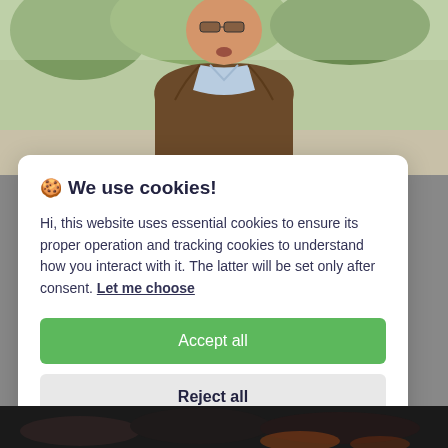[Figure (photo): Photo of an older man in a brown jacket and light blue shirt, outdoors with greenery in background, partially obscured by cookie consent modal]
🍪 We use cookies!
Hi, this website uses essential cookies to ensure its proper operation and tracking cookies to understand how you interact with it. The latter will be set only after consent. Let me choose
Accept all
Reject all
[Figure (photo): Dark image at the bottom, partially visible, appears to show some objects or scene]